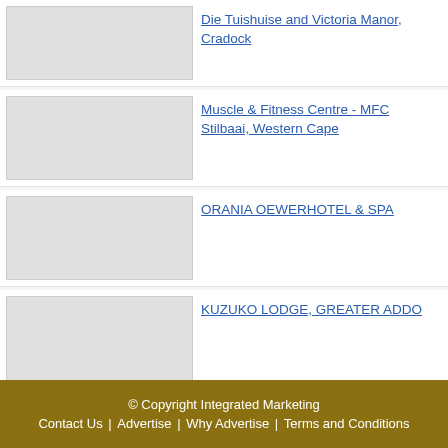Die Tuishuise and Victoria Manor, Cradock
Muscle & Fitness Centre - MFC Stilbaai, Western Cape
ORANIA OEWERHOTEL & SPA
KUZUKO LODGE, GREATER ADDO
Add your free business listing here
© Copyright Integrated Marketing | Contact Us | Advertise | Why Advertise | Terms and Conditions